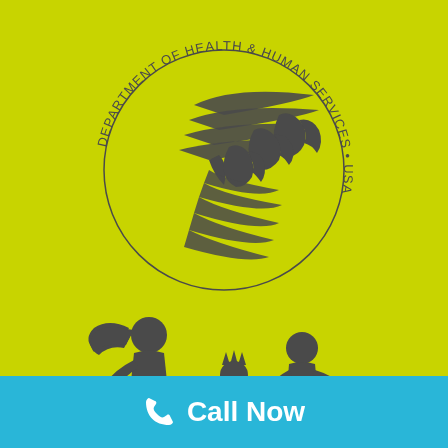[Figure (logo): HHS (Department of Health & Human Services USA) eagle logo with circular text reading DEPARTMENT OF HEALTH & HUMAN SERVICES • USA, on yellow-green background]
[Figure (illustration): Silhouette illustration of a woman with flowing hair holding hands with two children, in dark gray on yellow-green background]
Call Now